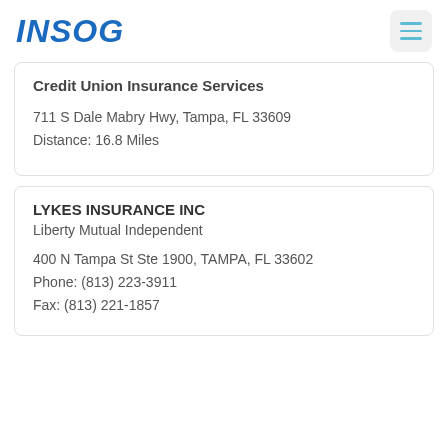INSOG
Credit Union Insurance Services
711 S Dale Mabry Hwy, Tampa, FL 33609
Distance: 16.8 Miles
LYKES INSURANCE INC
Liberty Mutual Independent
400 N Tampa St Ste 1900, TAMPA, FL 33602
Phone: (813) 223-3911
Fax: (813) 221-1857